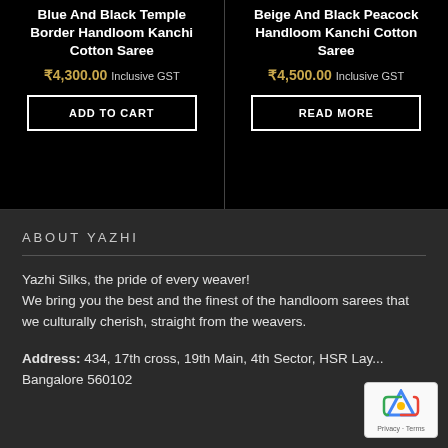Blue And Black Temple Border Handloom Kanchi Cotton Saree
₹4,300.00 Inclusive GST
ADD TO CART
Beige And Black Peacock Handloom Kanchi Cotton Saree
₹4,500.00 Inclusive GST
READ MORE
ABOUT YAZHI
Yazhi Silks, the pride of every weaver!
We bring you the best and the finest of the handloom sarees that we culturally cherish, straight from the weavers.
Address: 434, 17th cross, 19th Main, 4th Sector, HSR Layout, Bangalore 560102